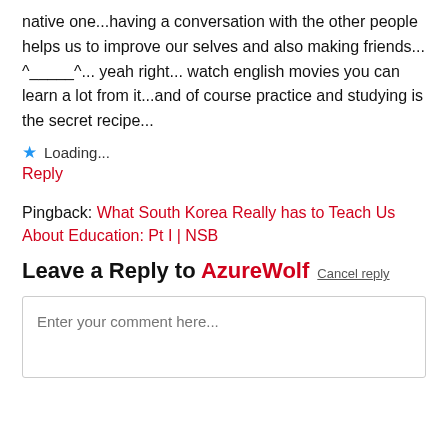native one...having a conversation with the other people helps us to improve our selves and also making friends... ^_____^... yeah right... watch english movies you can learn a lot from it...and of course practice and studying is the secret recipe...
★ Loading...
Reply
Pingback: What South Korea Really has to Teach Us About Education: Pt I | NSB
Leave a Reply to AzureWolf   Cancel reply
Enter your comment here...